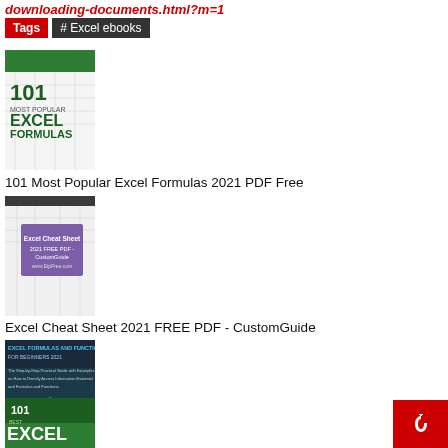downloading-documents.html?m=1
Tags  # Excel ebooks
[Figure (photo): Book cover: 101 Most Popular Excel Formulas]
101 Most Popular Excel Formulas 2021 PDF Free
[Figure (photo): Book cover: Excel Cheat Sheet 2021 FREE PDF - CustomGuide]
Excel Cheat Sheet 2021 FREE PDF - CustomGuide
[Figure (photo): Book cover: Excel Formulas and Functions for Beginners 2021: The Step-by-Step Practical Guide with Examples]
Excel Formulas and Functions for Beginners 2021: The Step-by-Step Practical Guide with Examples
[Figure (photo): Book cover: 101 Best Excel Tips & Tricks (partial, cut off at bottom)]